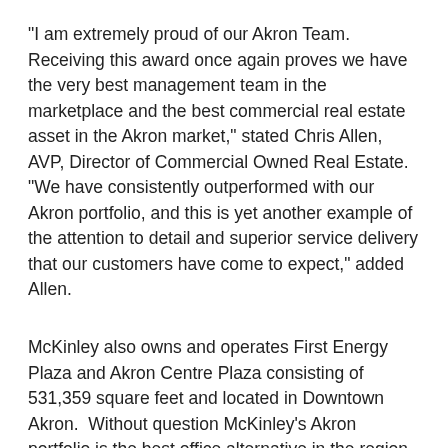"I am extremely proud of our Akron Team.  Receiving this award once again proves we have the very best management team in the marketplace and the best commercial real estate asset in the Akron market," stated Chris Allen, AVP, Director of Commercial Owned Real Estate. “We have consistently outperformed with our Akron portfolio, and this is yet another example of the attention to detail and superior service delivery that our customers have come to expect,” added Allen.
McKinley also owns and operates First Energy Plaza and Akron Centre Plaza consisting of 531,359 square feet and located in Downtown Akron.  Without question McKinley’s Akron portfolio is the best office alternative in the region with world class tenants such as First Energy Corporation, JP Morgan Chase Bank and Ernst & Young
“Excellence is core to who we are, and our Akron team delivers excellence in everything they do,” offered Albert M. Berriz,